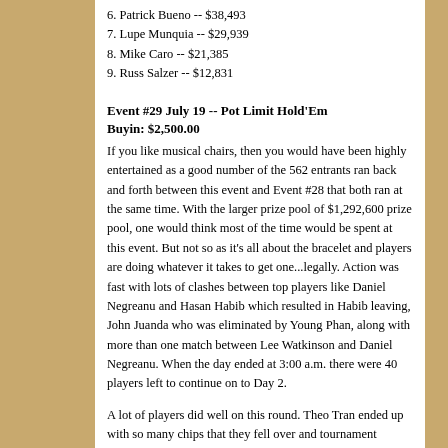6. Patrick Bueno -- $38,493
7. Lupe Munquia -- $29,939
8. Mike Caro -- $21,385
9. Russ Salzer -- $12,831
Event #29 July 19 -- Pot Limit Hold'Em
Buyin: $2,500.00
If you like musical chairs, then you would have been highly entertained as a good number of the 562 entrants ran back and forth between this event and Event #28 that both ran at the same time. With the larger prize pool of $1,292,600 prize pool, one would think most of the time would be spent at this event. But not so as it's all about the bracelet and players are doing whatever it takes to get one...legally. Action was fast with lots of clashes between top players like Daniel Negreanu and Hasan Habib which resulted in Habib leaving, John Juanda who was eliminated by Young Phan, along with more than one match between Lee Watkinson and Daniel Negreanu. When the day ended at 3:00 a.m. there were 40 players left to continue on to Day 2.
A lot of players did well on this round. Theo Tran ended up with so many chips that they fell over and tournament officials told him he could no longer stack them higher than 30! Highly determined 2005 Main Event champion Joseph Hachem had a smiling face but showed little mercy, making the final table